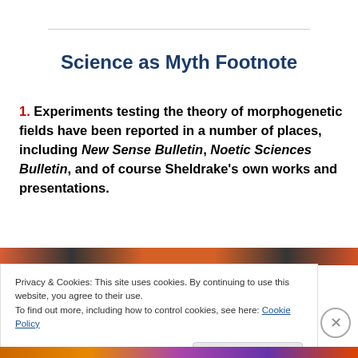Science as Myth Footnote
1. Experiments testing the theory of morphogenetic fields have been reported in a number of places, including New Sense Bulletin, Noetic Sciences Bulletin, and of course Sheldrake's own works and presentations.
[Figure (photo): Colored image strip partially visible behind cookie consent banner]
Privacy & Cookies: This site uses cookies. By continuing to use this website, you agree to their use.
To find out more, including how to control cookies, see here: Cookie Policy
Close and accept